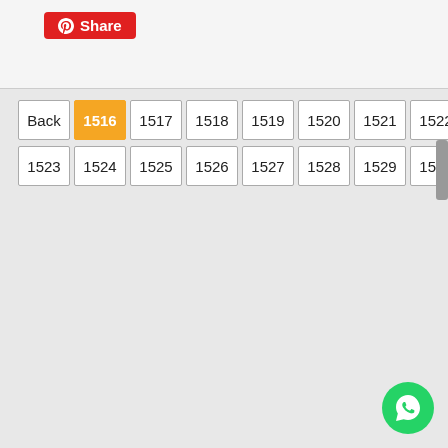[Figure (screenshot): Pinterest Share button (red background with Pinterest icon and 'Share' text)]
Back 1516 1517 1518 1519 1520 1521 1522 1523 1524 1525 1526 1527 1528 1529 1530 Next